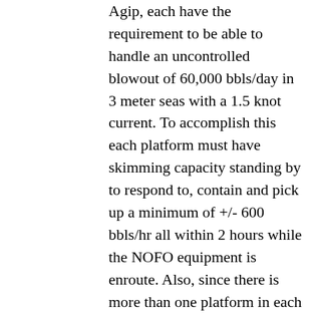Agip, each have the requirement to be able to handle an uncontrolled blowout of 60,000 bbls/day in 3 meter seas with a 1.5 knot current. To accomplish this each platform must have skimming capacity standing by to respond to, contain and pick up a minimum of +/- 600 bbls/hr all within 2 hours while the NOFO equipment is enroute. Also, since there is more than one platform in each field, all equipment from each platform is available. The NOFO operating plan supplements the oil spill cleanup equipment that is required to be at each offshore facility. Exploration facilities, are determined to be seven (7) times more likely to have a blowout than a production facility. Exploration facilities share a bigger burden of the operating budget of NOFO and